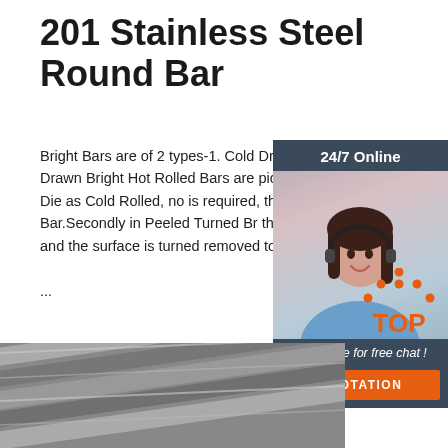201 Stainless Steel Round Bar
Bright Bars are of 2 types-1. Cold Drawn and Peeled 2. Turned.In a Cold Drawn Bright Hot Rolled Bars are pickled and drawn through a Tungsten Carbide Die as Cold Rolled, no heat is required, that is why it is called a Cold Bright Bar.Secondly in Peeled Turned Bright the Hot Rolled Bar is fed into a Turning machine and the surface is turned removed to the ...
[Figure (photo): Customer service representative with headset, 24/7 Online chat widget with QUOTATION button]
[Figure (illustration): TOP badge logo with orange dots forming a roof/triangle shape above orange text TOP]
[Figure (photo): Close-up photo of stainless steel round bars showing metallic surface texture]